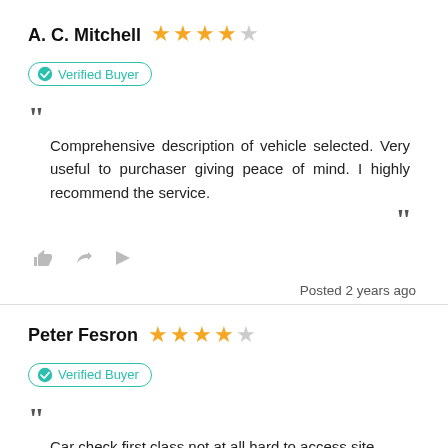A. C. Mitchell ★★★★☆
Verified Buyer
Comprehensive description of vehicle selected. Very useful to purchaser giving peace of mind. I highly recommend the service.
Posted 2 years ago
Peter Fesron ★★★★☆
Verified Buyer
Car check first class not at all hard to access site,